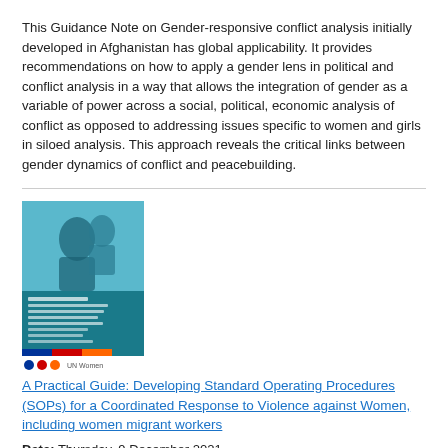This Guidance Note on Gender-responsive conflict analysis initially developed in Afghanistan has global applicability. It provides recommendations on how to apply a gender lens in political and conflict analysis in a way that allows the integration of gender as a variable of power across a social, political, economic analysis of conflict as opposed to addressing issues specific to women and girls in siloed analysis. This approach reveals the critical links between gender dynamics of conflict and peacebuilding.
[Figure (photo): Cover image of a practical guide document showing a woman and child, with logos of EU, and other organizations at the bottom.]
A Practical Guide: Developing Standard Operating Procedures (SOPs) for a Coordinated Response to Violence against Women, including women migrant workers
Date: Thursday, 9 December 2021
This guidance for Standard Operating Procedures (SOPs) is an essential tool to make sure a coordinated response to VAW,